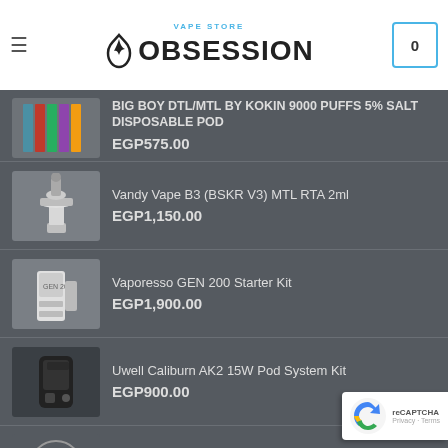VAPE STORE OBSESSION
BIG BOY DTL/MTL BY KOKIN 9000 PUFFS 5% SALT DISPOSABLE POD — EGP575.00
Vandy Vape B3 (BSKR V3) MTL RTA 2ml — EGP1,150.00
Vaporesso GEN 200 Starter Kit — EGP1,900.00
Uwell Caliburn AK2 15W Pod System Kit — EGP900.00
IMREN 18650 3000MAH 40A IMR Battery — EGP180.00